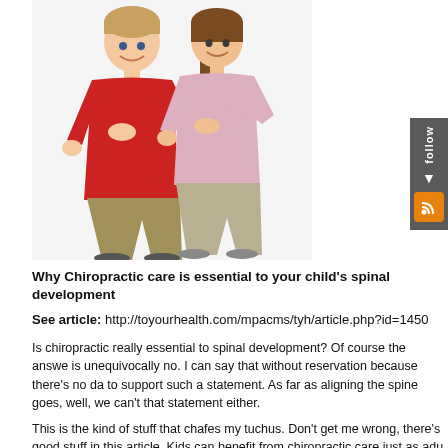[Figure (photo): Two children (a boy in red polo shirt and a girl in pink shirt) standing back-to-back with arms crossed, smiling]
[Figure (infographic): Sidebar with 'follow' text vertically and RSS feed orange icon]
Why Chiropractic care is essential to your child's spinal development
See article: http://toyourhealth.com/mpacms/tyh/article.php?id=1450
Is chiropractic really essential to spinal development? Of course the answer is unequivocally no. I can say that without reservation because there's no data to support such a statement. As far as aligning the spine goes, well, we can't support that statement either.
This is the kind of stuff that chafes my tuchus. Don't get me wrong, there's good stuff in this article. Kids can benefit from chiropractic care just as adu